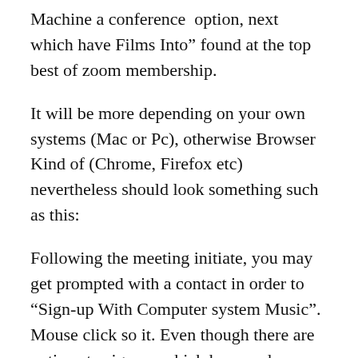Machine a conference option, next which have Films Into” found at the top best of zoom membership.
It will be more depending on your own systems (Mac or Pc), otherwise Browser Kind of (Chrome, Firefox etc) nevertheless should look something such as this:
Following the meeting initiate, you may get prompted with a contact in order to “Sign-up With Computer system Music”. Mouse click so it. Even though there are options to sign-up which have a phone call, we shall not level which.